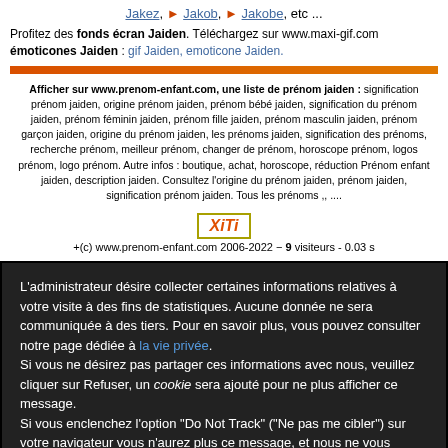Jakez, → Jakob, → Jakobe, etc ...
Profitez des fonds écran Jaiden. Téléchargez sur www.maxi-gif.com émoticones Jaiden : gif Jaiden, emoticone Jaiden.
Afficher sur www.prenom-enfant.com, une liste de prénom jaiden : signification prénom jaiden, origine prénom jaiden, prénom bébé jaiden, signification du prénom jaiden, prénom féminin jaiden, prénom fille jaiden, prénom masculin jaiden, prénom garçon jaiden, origine du prénom jaiden, les prénoms jaiden, signification des prénoms, recherche prénom, meilleur prénom, changer de prénom, horoscope prénom, logos prénom, logo prénom. Autre infos : boutique, achat, horoscope, réduction Prénom enfant jaiden, description jaiden. Consultez l'origine du prénom jaiden, prénom jaiden, signification prénom jaiden. Tous les prénoms ,, ....
[Figure (logo): XiTi logo button]
+(c) www.prenom-enfant.com 2006-2022 − 9 visiteurs - 0.03 s
L'administrateur désire collecter certaines informations relatives à votre visite à des fins de statistiques. Aucune donnée ne sera communiquée à des tiers. Pour en savoir plus, vous pouvez consulter notre page dédiée à la vie privée. Si vous ne désirez pas partager ces informations avec nous, veuillez cliquer sur Refuser, un cookie sera ajouté pour ne plus afficher ce message. Si vous enclenchez l'option "Do Not Track" ("Ne pas me cibler") sur votre navigateur vous n'aurez plus ce message, et nous ne vous ciblerons jamais.